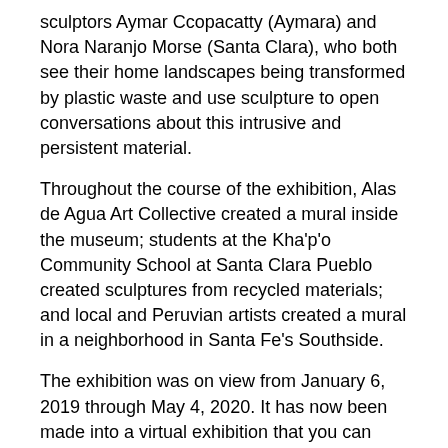sculptors Aymar Ccopacatty (Aymara) and Nora Naranjo Morse (Santa Clara), who both see their home landscapes being transformed by plastic waste and use sculpture to open conversations about this intrusive and persistent material.
Throughout the course of the exhibition, Alas de Agua Art Collective created a mural inside the museum; students at the Kha'p'o Community School at Santa Clara Pueblo created sculptures from recycled materials; and local and Peruvian artists created a mural in a neighborhood in Santa Fe's Southside.
The exhibition was on view from January 6, 2019 through May 4, 2020. It has now been made into a virtual exhibition that you can explore online.
ONLINE RESOURCES:
Virtual Exhibition
Objects from the Exhibition